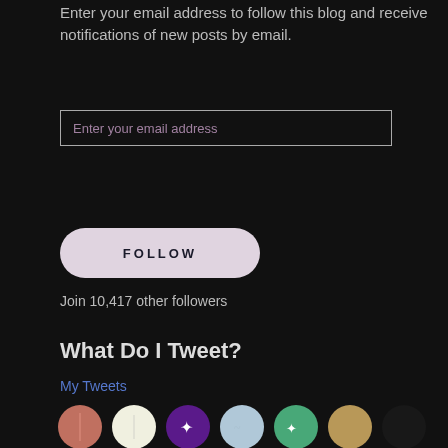Enter your email address to follow this blog and receive notifications of new posts by email.
[Figure (other): Email address input field with placeholder text 'Enter your email address']
[Figure (other): FOLLOW button, rounded pill shape, light lavender color]
Join 10,417 other followers
What Do I Tweet?
My Tweets
[Figure (photo): Grid of circular avatar/profile images of blog followers, arranged in rows]